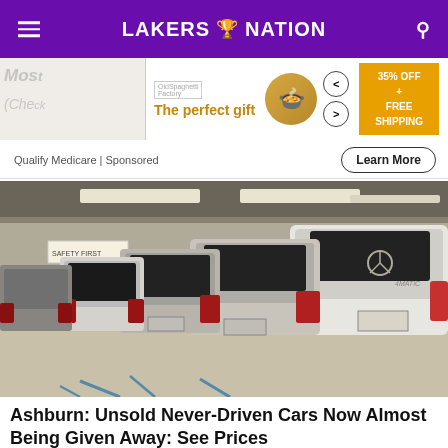LAKERS NATION
[Figure (screenshot): Advertisement banner: 'The perfect gift' with food image, navigation arrows, and '35% OFF + FREE SHIPPING' promo box]
Qualify Medicare | Sponsored
[Figure (photo): A row of white and silver Mercedes-Benz SUVs parked in a covered parking garage, secured with straps, viewed from rear angle. A 'SAFETY FIRST' sign is visible in the background.]
Ashburn: Unsold Never-Driven Cars Now Almost Being Given Away: See Prices